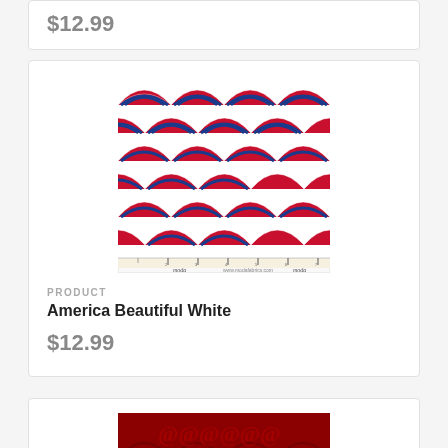$12.99
[Figure (photo): Fabric swatch showing a repeating fan/scallop pattern in red and navy blue on white background, with a ruler at the bottom and 'moda' branding text. The pattern consists of overlapping fan shapes arranged in rows.]
PRODUCT
America Beautiful White
$12.99
[Figure (photo): Partially visible fabric swatch with a red background showing a decorative pattern.]